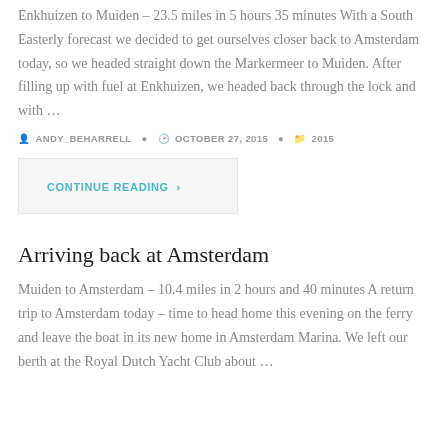Enkhuizen to Muiden – 23.5 miles in 5 hours 35 minutes With a South Easterly forecast we decided to get ourselves closer back to Amsterdam today, so we headed straight down the Markermeer to Muiden. After filling up with fuel at Enkhuizen, we headed back through the lock and with …
ANDY_BEHARRELL   OCTOBER 27, 2015   2015
CONTINUE READING ›
Arriving back at Amsterdam
Muiden to Amsterdam – 10.4 miles in 2 hours and 40 minutes A return trip to Amsterdam today – time to head home this evening on the ferry and leave the boat in its new home in Amsterdam Marina. We left our berth at the Royal Dutch Yacht Club about …